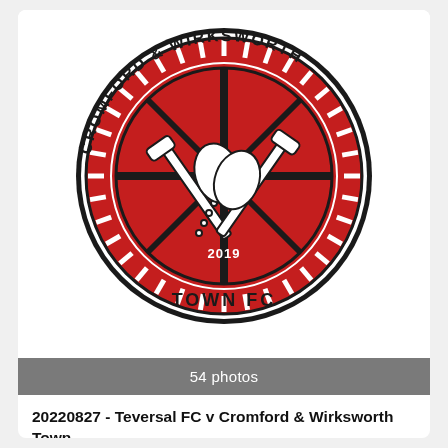[Figure (logo): Cromford & Wirksworth Town FC circular logo with red and black crest, miners' tools in center, year 2019, text 'CROMFORD & WIRKSWORTH' on top arc and 'TOWN FC' below]
54 photos
20220827 - Teversal FC v Cromford & Wirksworth Town
3 tuntia sitten